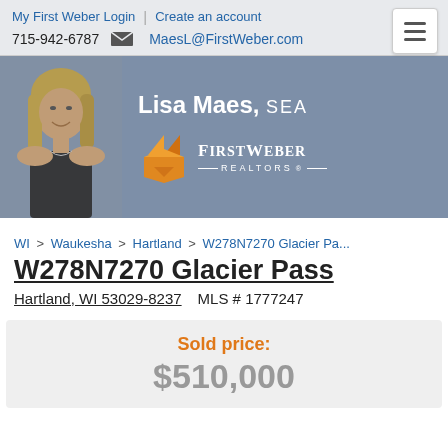My First Weber Login | Create an account
715-942-6787  MaesL@FirstWeber.com
[Figure (photo): Headshot photo of Lisa Maes, a blonde woman smiling, on a blue-grey banner background]
Lisa Maes, SEA
[Figure (logo): First Weber Realtors logo - orange diamond/arrow shape with 'FirstWeber' in white text and 'REALTORS' below]
WI > Waukesha > Hartland > W278N7270 Glacier Pa...
W278N7270 Glacier Pass
Hartland, WI 53029-8237   MLS # 1777247
Sold price: $510,000